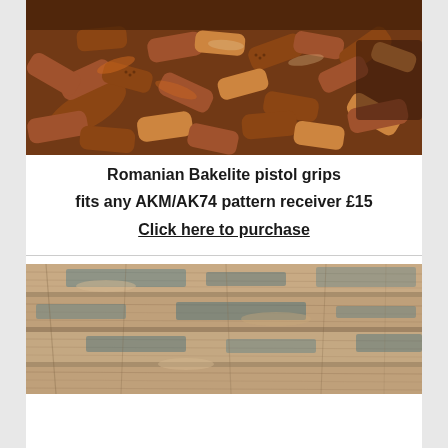[Figure (photo): A large pile of brown/reddish Bakelite pistol grips for AK-pattern rifles, piled together in bulk]
Romanian  Bakelite pistol grips
fits any AKM/AK74 pattern receiver £15
Click here to purchase
[Figure (photo): Weathered wooden surface/stock with worn paint showing blue and tan colors with visible grain and age markings]